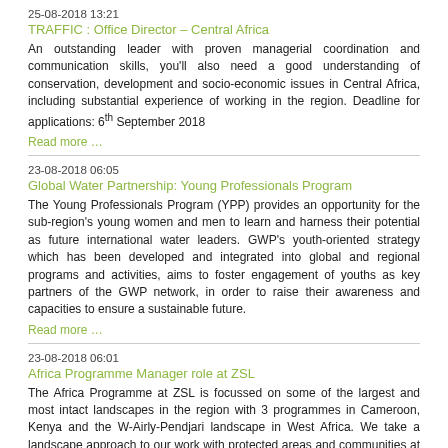25-08-2018 13:21
TRAFFIC : Office Director – Central Africa
An outstanding leader with proven managerial coordination and communication skills, you'll also need a good understanding of conservation, development and socio-economic issues in Central Africa, including substantial experience of working in the region. Deadline for applications: 6th September 2018
Read more …
23-08-2018 06:05
Global Water Partnership: Young Professionals Program
The Young Professionals Program (YPP) provides an opportunity for the sub-region's young women and men to learn and harness their potential as future international water leaders. GWP's youth-oriented strategy which has been developed and integrated into global and regional programs and activities, aims to foster engagement of youths as key partners of the GWP network, in order to raise their awareness and capacities to ensure a sustainable future.
Read more …
23-08-2018 06:01
Africa Programme Manager role at ZSL
The Africa Programme at ZSL is focussed on some of the largest and most intact landscapes in the region with 3 programmes in Cameroon, Kenya and the W-Airly-Pendjari landscape in West Africa. We take a landscape approach to our work with protected areas and communities at the core of this. Our diverse portfolio of projects cover freshwater, mangrove, savannah and tropical forest ecosystems and a range of threatened species from black rhino, elephants and lions to manatees, turtles and pangolins. Closing date for applications: Midnight Sunday 9th September 2018.
Read more …